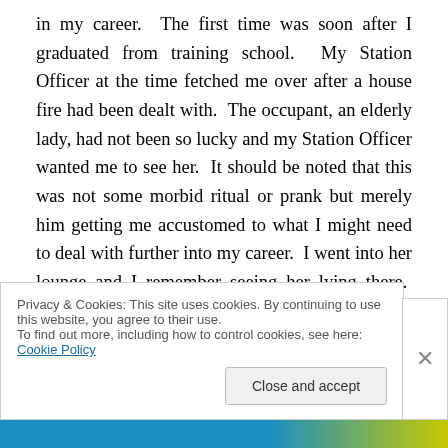in my career.  The first time was soon after I graduated from training school.  My Station Officer at the time fetched me over after a house fire had been dealt with.  The occupant, an elderly lady, had not been so lucky and my Station Officer wanted me to see her.  It should be noted that this was not some morbid ritual or prank but merely him getting me accustomed to what I might need to deal with further into my career.  I went into her lounge and I remember seeing her lying there.  She actually looked quite peaceful and the thing that struck me was that I did not feel sorry for her.  I know that sounds odd but just by
Privacy & Cookies: This site uses cookies. By continuing to use this website, you agree to their use.
To find out more, including how to control cookies, see here: Cookie Policy